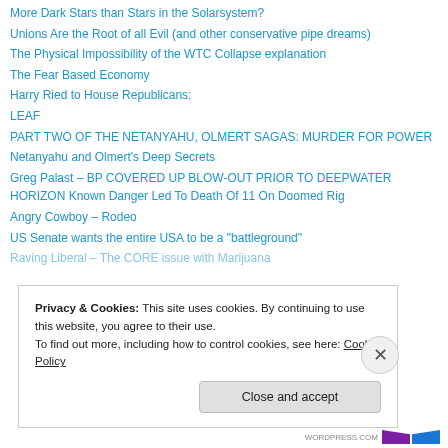More Dark Stars than Stars in the Solarsystem?
Unions Are the Root of all Evil (and other conservative pipe dreams)
The Physical Impossibility of the WTC Collapse explanation
The Fear Based Economy
Harry Ried to House Republicans:
LEAF
PART TWO OF THE NETANYAHU, OLMERT SAGAS: MURDER FOR POWER
Netanyahu and Olmert's Deep Secrets
Greg Palast – BP COVERED UP BLOW-OUT PRIOR TO DEEPWATER HORIZON Known Danger Led To Death Of 11 On Doomed Rig
Angry Cowboy – Rodeo
US Senate wants the entire USA to be a "battleground"
Raving Liberal – The CORE issue with Marijuana
Privacy & Cookies: This site uses cookies. By continuing to use this website, you agree to their use.
To find out more, including how to control cookies, see here: Cookie Policy
Close and accept